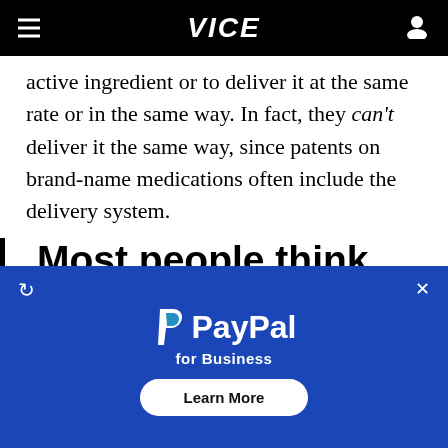VICE
active ingredient or to deliver it at the same rate or in the same way. In fact, they can't deliver it the same way, since patents on brand-name medications often include the delivery system.
Most people think generic medications are identical to brand-
[Figure (screenshot): PayPal for Business advertisement overlay with PayPal logo, tagline 'for Business', and 'Learn More' button on blue background]